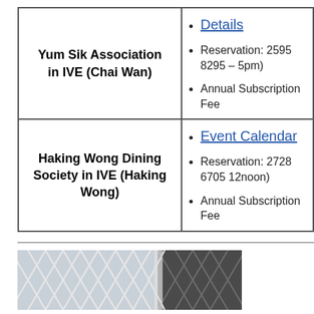| Organization | Info |
| --- | --- |
| Yum Sik Association in IVE (Chai Wan) | Details | Reservation: 2595 8295 – 5pm) | Annual Subscription Fee |
| Haking Wong Dining Society in IVE (Haking Wong) | Event Calendar | Reservation: 2728 6705 12noon) | Annual Subscription Fee |
[Figure (photo): Architectural photo showing a building exterior with diagonal structural lattice/grid pattern, with white and dark sections visible]